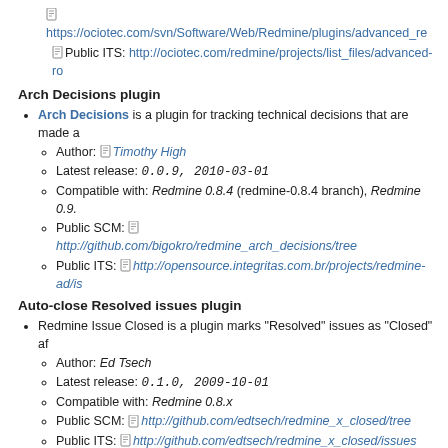https://ociotec.com/svn/Software/Web/Redmine/plugins/advanced_re
Public ITS: http://ociotec.com/redmine/projects/list_files/advanced-ro
Arch Decisions plugin
Arch Decisions is a plugin for tracking technical decisions that are made a
Author: Timothy High
Latest release: 0.0.9, 2010-03-01
Compatible with: Redmine 0.8.4 (redmine-0.8.4 branch), Redmine 0.9.
Public SCM: http://github.com/bigokro/redmine_arch_decisions/tree
Public ITS: http://opensource.integritas.com.br/projects/redmine-ad/is
Auto-close Resolved issues plugin
Redmine Issue Closed is a plugin marks "Resolved" issues as "Closed" af
Author: Ed Tsech
Latest release: 0.1.0, 2009-10-01
Compatible with: Redmine 0.8.x
Public SCM: http://github.com/edtsech/redmine_x_closed/tree
Public ITS: http://github.com/edtsech/redmine_x_closed/issues
B
Backlogs plugin
A Redmine plugin for agile teams
Author: relaxdiego, friflaj
Current developments: See github page for version info
Compatible with: Redmine v1.0.0
Website: http://www.redminebacklogs.net
Bug tracker: http://bugs.redminebacklogs.net